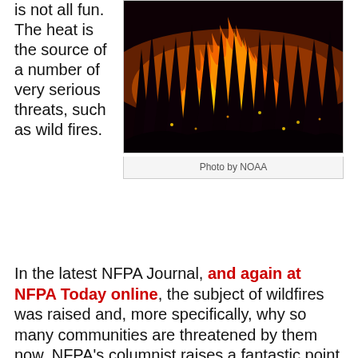is not all fun. The heat is the source of a number of very serious threats, such as wild fires.
[Figure (photo): Wildfire burning through a forest at night with tall trees silhouetted against intense orange and yellow flames]
Photo by NOAA
In the latest NFPA Journal, and again at NFPA Today online, the subject of wildfires was raised and, more specifically, why so many communities are threatened by them now. NFPA’s columnist raises a fantastic point in that community planners must be more aware of wildfire threats when choosing sites for building.